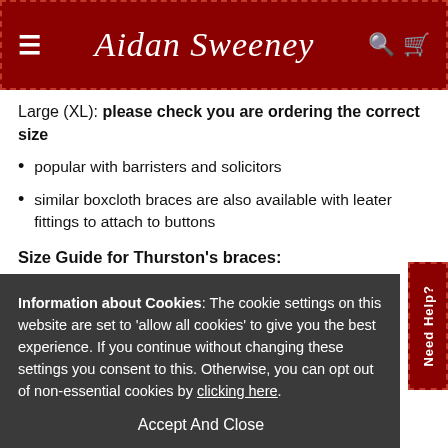Aidan Sweeney
Large (XL): please check you are ordering the correct size
popular with barristers and solicitors
similar boxcloth braces are also available with leater fittings to attach to buttons
Size Guide for Thurston's braces:
Information about Cookies: The cookie settings on this website are set to 'allow all cookies' to give you the best experience. If you continue without changing these settings you consent to this. Otherwise, you can opt out of non-essential cookies by clicking here.
Accept And Close